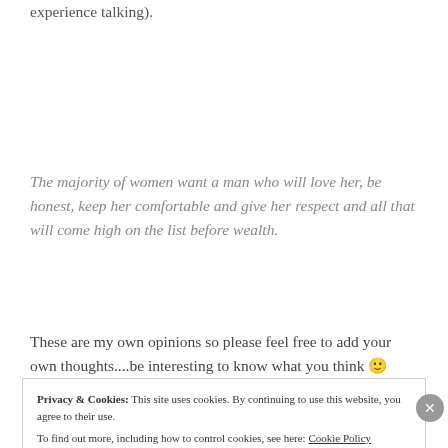experience talking).
The majority of women want a man who will love her, be honest, keep her comfortable and give her respect and all that will come high on the list before wealth.
These are my own opinions so please feel free to add your own thoughts....be interesting to know what you think 🙂
Privacy & Cookies: This site uses cookies. By continuing to use this website, you agree to their use. To find out more, including how to control cookies, see here: Cookie Policy